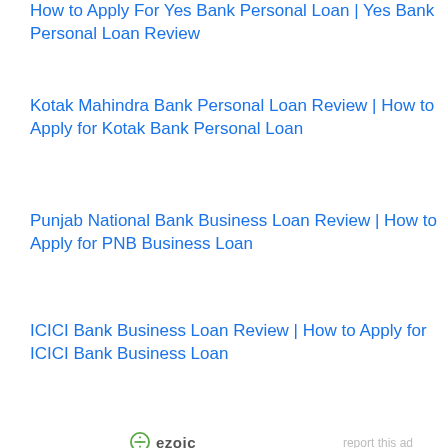How to Apply For Yes Bank Personal Loan | Yes Bank Personal Loan Review
Kotak Mahindra Bank Personal Loan Review | How to Apply for Kotak Bank Personal Loan
Punjab National Bank Business Loan Review | How to Apply for PNB Business Loan
ICICI Bank Business Loan Review | How to Apply for ICICI Bank Business Loan
[Figure (logo): Ezoic logo with circular icon and bold text 'ezoic']
report this ad